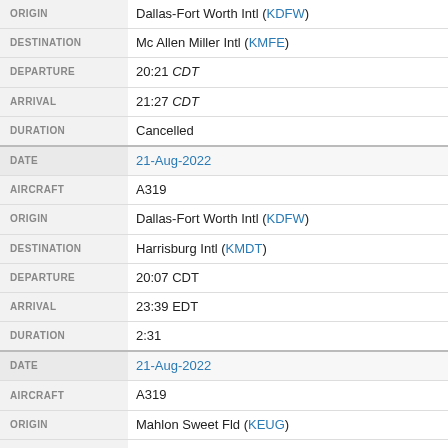| Field | Value |
| --- | --- |
| ORIGIN | Dallas-Fort Worth Intl (KDFW) |
| DESTINATION | Mc Allen Miller Intl (KMFE) |
| DEPARTURE | 20:21 CDT |
| ARRIVAL | 21:27 CDT |
| DURATION | Cancelled |
| DATE | 21-Aug-2022 |
| AIRCRAFT | A319 |
| ORIGIN | Dallas-Fort Worth Intl (KDFW) |
| DESTINATION | Harrisburg Intl (KMDT) |
| DEPARTURE | 20:07 CDT |
| ARRIVAL | 23:39 EDT |
| DURATION | 2:31 |
| DATE | 21-Aug-2022 |
| AIRCRAFT | A319 |
| ORIGIN | Mahlon Sweet Fld (KEUG) |
| DESTINATION | Dallas-Fort Worth Intl (KDFW) |
| DEPARTURE | 13:33 PDT |
| ARRIVAL | 19:00 CDT |
| DURATION | 3:26 |
| DATE | 21-Aug-2022 |
| AIRCRAFT | A319 |